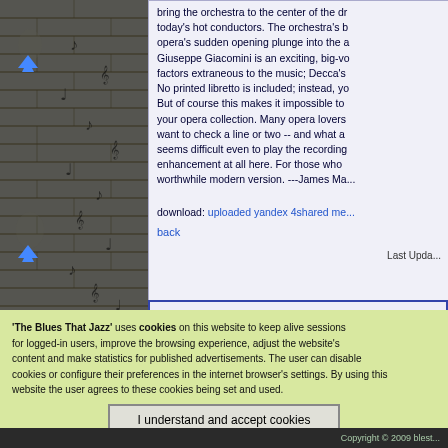[Figure (illustration): Dark brick wall background with musical notes and treble clef symbols scattered throughout, with blue navigation arrows on the left side]
bring the orchestra to the center of the dr... today's hot conductors. The orchestra's b... opera's sudden opening plunge into the a... Giuseppe Giacomini is an exciting, big-vo... factors extraneous to the music; Decca's... No printed libretto is included; instead, y... But of course this makes it impossible to ... your opera collection. Many opera lovers ... want to check a line or two -- and what a... seems difficult even to play the recording... enhancement at all here. For those who ... worthwhile modern version. ---James Ma...
download: uploaded yandex 4shared me...
back
Last Upda...
Before downloading any... Te...
'The Blues That Jazz' uses cookies on this website to keep alive sessions for logged-in users, improve the browsing experience, adjust the website's content and make statistics for published advertisements. The user can disable cookies or configure their preferences in the internet browser's settings. By using this website the user agrees to these cookies being set and used.
I understand and accept cookies
Copyright © 2009 blest...